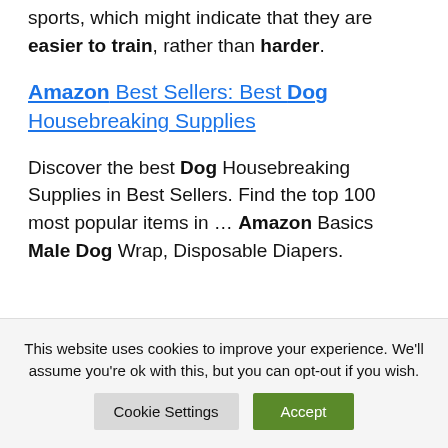sports, which might indicate that they are easier to train, rather than harder.
Amazon Best Sellers: Best Dog Housebreaking Supplies
Discover the best Dog Housebreaking Supplies in Best Sellers. Find the top 100 most popular items in … Amazon Basics Male Dog Wrap, Disposable Diapers.
This website uses cookies to improve your experience. We'll assume you're ok with this, but you can opt-out if you wish.